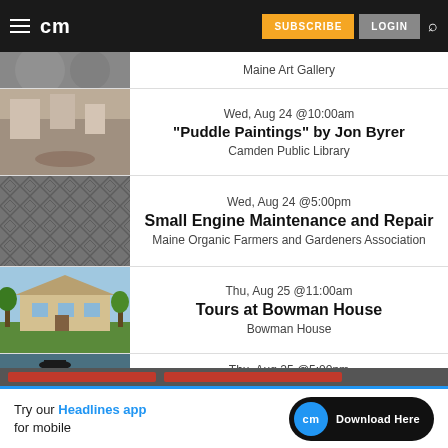cm | SUBSCRIBE | LOGIN
Maine Art Gallery
Wed, Aug 24 @10:00am — "Puddle Paintings" by Jon Byrer — Camden Public Library
Wed, Aug 24 @5:00pm — Small Engine Maintenance and Repair — Maine Organic Farmers and Gardeners Association
Thu, Aug 25 @11:00am — Tours at Bowman House — Bowman House
Thu, Aug 25 @5:00pm — Wiscasset Art Walk — Wiscasset Village
[Figure (other): Try our Headlines app for mobile — cm Download Here]